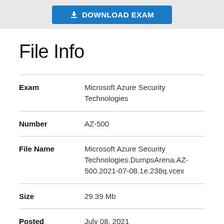DOWNLOAD EXAM
File Info
| Field | Value |
| --- | --- |
| Exam | Microsoft Azure Security Technologies |
| Number | AZ-500 |
| File Name | Microsoft Azure Security Technologies.DumpsArena.AZ-500.2021-07-08.1e.238q.vcex |
| Size | 29.39 Mb |
| Posted | July 08, 2021 |